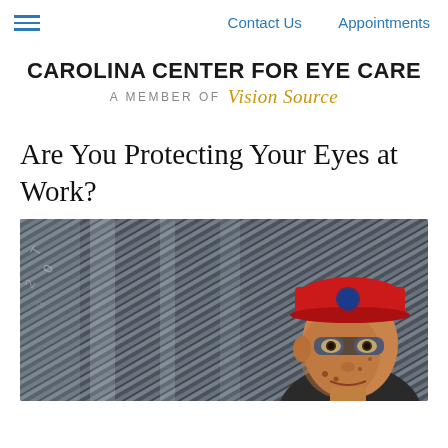Contact Us | Appointments
CAROLINA CENTER FOR EYE CARE
A MEMBER OF Vision Source
Are You Protecting Your Eyes at Work?
[Figure (photo): A male worker wearing a red cap and safety glasses, photographed against an industrial metal corrugated background, face dirty from work.]